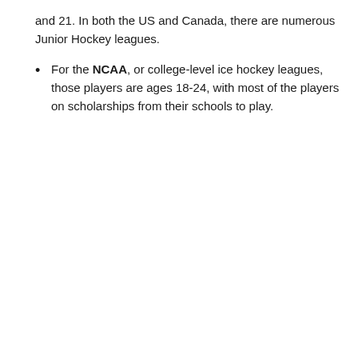and 21. In both the US and Canada, there are numerous Junior Hockey leagues.
For the NCAA, or college-level ice hockey leagues, those players are ages 18-24, with most of the players on scholarships from their schools to play.